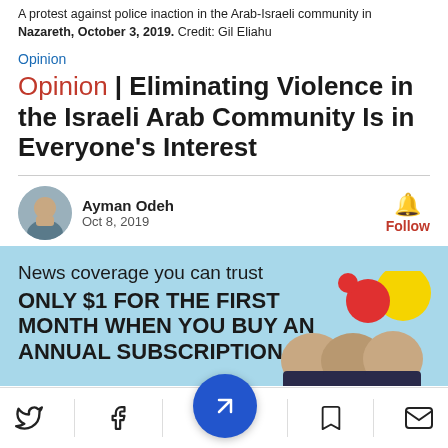A protest against police inaction in the Arab-Israeli community in Nazareth, October 3, 2019.  Credit: Gil Eliahu
Opinion
Opinion | Eliminating Violence in the Israeli Arab Community Is in Everyone's Interest
Ayman Odeh
Oct 8, 2019
News coverage you can trust
ONLY $1 FOR THE FIRST MONTH WHEN YOU BUY AN ANNUAL SUBSCRIPTION